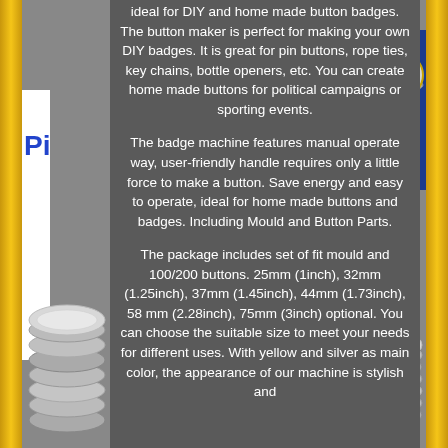ideal for DIY and home made button badges. The button maker is perfect for making your own DIY badges. It is great for pin buttons, rope ties, key chains, bottle openers, etc. You can create home made buttons for political campaigns or sporting events.
The badge machine features manual operate way, user-friendly handle requires only a little force to make a button. Save energy and easy to operate, ideal for home made buttons and badges. Including Mould and Button Parts.
The package includes set of fit mould and 100/200 buttons. 25mm (1inch), 32mm (1.25inch), 37mm (1.45inch), 44mm (1.73inch), 58 mm (2.28inch), 75mm (3inch) optional. You can choose the suitable size to meet your needs for different uses. With yellow and silver as main color, the appearance of our machine is stylish and